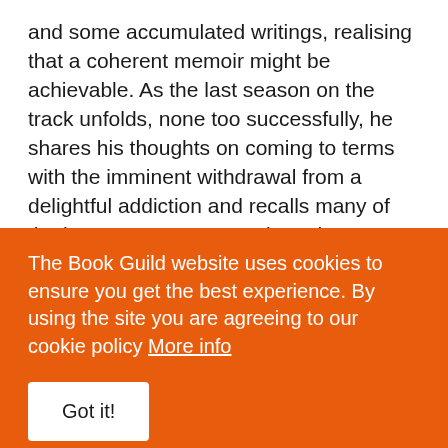and some accumulated writings, realising that a coherent memoir might be achievable. As the last season on the track unfolds, none too successfully, he shares his thoughts on coming to terms with the imminent withdrawal from a delightful addiction and recalls many of the humorous moments along the way.
We hear about kit cars and jalopies marooned on various hilltops in East Yorkshire and even Brighton. We see how he left trailers and even tow vehicles
The Book Guild website uses cookies to ensure you get the best experience. By using the site you are agreeing to our cookie policy More info
Got it!